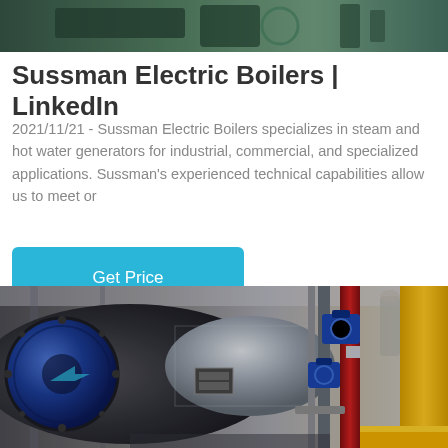[Figure (photo): Partial view of industrial equipment or boiler machinery, cropped at top of page]
Sussman Electric Boilers | LinkedIn
2021/11/21 - Sussman Electric Boilers specializes in steam and hot water generators for industrial, commercial, and specialized applications. Sussman's experienced technical capabilities allow us to meet or
[Figure (other): Get Price button (cyan/teal colored call-to-action button)]
[Figure (photo): Industrial boiler room showing large dark cylindrical boiler with blue circular front panel, silver cylindrical tank, red vertical pipe, blue valve controls, and yellow pipe/column on the right]